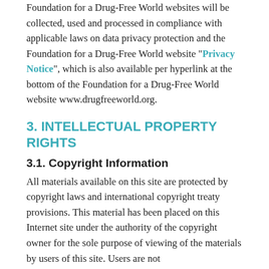Foundation for a Drug-Free World websites will be collected, used and processed in compliance with applicable laws on data privacy protection and the Foundation for a Drug-Free World website "Privacy Notice", which is also available per hyperlink at the bottom of the Foundation for a Drug-Free World website www.drugfreeworld.org.
3. INTELLECTUAL PROPERTY RIGHTS
3.1. Copyright Information
All materials available on this site are protected by copyright laws and international copyright treaty provisions. This material has been placed on this Internet site under the authority of the copyright owner for the sole purpose of viewing of the materials by users of this site. Users are not